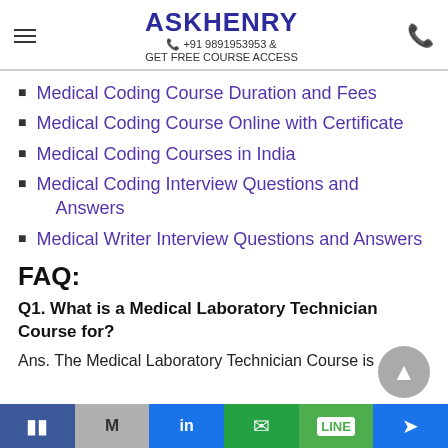ASKHENRY +91 9891953953 & GET FREE COURSE ACCESS
Medical Coding Course Duration and Fees
Medical Coding Course Online with Certificate
Medical Coding Courses in India
Medical Coding Interview Questions and Answers
Medical Writer Interview Questions and Answers
FAQ:
Q1. What is a Medical Laboratory Technician Course for?
Ans. The Medical Laboratory Technician Course is